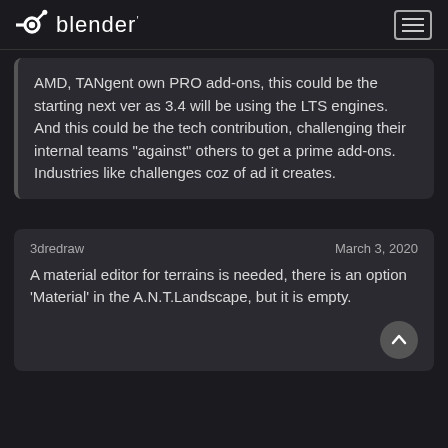blender
AMD, TANgent own PRO add-ons, this could be the starting next ver as 3.4 will be using the LTS engines. And this could be the tech contribution, challenging their internal teams “against” others to get a prime add-ons. Industries like challenges coz of ad it creates.
3dredraw    March 3, 2020
A material editor for terrains is needed, there is an option ‘Material’ in the A.N.T.Landscape, but it is empty.